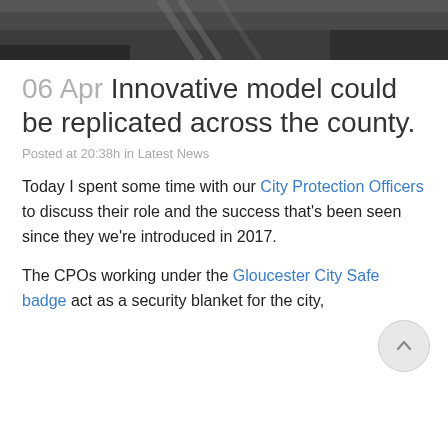[Figure (photo): Top cropped photo strip showing a dark scene, partial view of a room or building interior]
06 Apr Innovative model could be replicated across the county.
Posted at 20:38h in Latest News
Today I spent some time with our City Protection Officers to discuss their role and the success that's been seen since they we're introduced in 2017.
The CPOs working under the Gloucester City Safe badge act as a security blanket for the city,